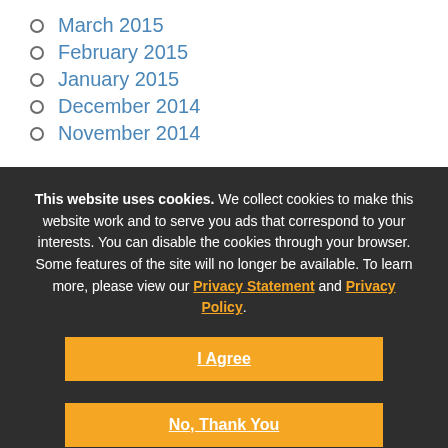March 2015
February 2015
January 2015
December 2014
November 2014
This website uses cookies. We collect cookies to make this website work and to serve you ads that correspond to your interests. You can disable the cookies through your browser. Some features of the site will no longer be available. To learn more, please view our Privacy Statement and Privacy Policy.
I Agree
No, Thank You
Show details